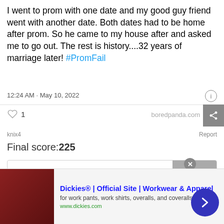I went to prom with one date and my good guy friend went with another date. Both dates had to be home after prom. So he came to my house after and asked me to go out. The rest is history....32 years of marriage later! #PromFail
12:24 AM · May 10, 2022
1
boredpanda.com
knix4
Report
Final score:225
Add a comment...
POST
Ines Olabarria-Smith 3 months ago
My date was best friend's with my sisters so we double dated...
[Figure (screenshot): Advertisement for Dickies workwear with image of clothing, title 'Dickies® | Official Site | Workwear & Apparel', subtitle 'for work pants, work shirts, overalls, and coveralls.', url 'www.dickies.com', close button, and navigation arrow button]